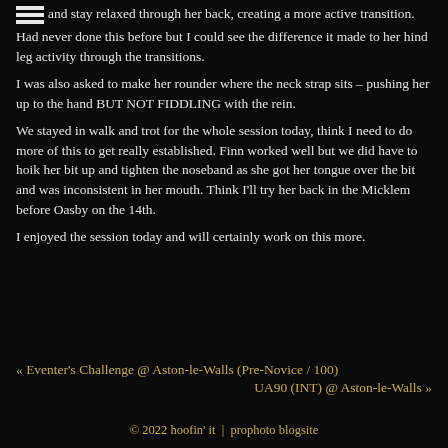and stay relaxed through her back, creating a more active transition. Had never done this before but I could see the difference it made to her hind leg activity through the transitions.
I was also asked to make her rounder where the neck strap sits – pushing her up to the hand BUT NOT FIDDLING with the rein.
We stayed in walk and trot for the whole session today, think I need to do more of this to get really established. Finn worked well but we did have to hoik her bit up and tighten the noseband as she got her tongue over the bit and was inconsistent in her mouth. Think I'll try her back in the Micklem before Oasby on the 14th.
I enjoyed the session today and will certainly work on this more.
« Eventer's Challenge @ Aston-le-Walls (Pre-Novice / 100)
UA90 (INT) @ Aston-le-Walls »
© 2022 hoofin' it  |  prophoto blogsite